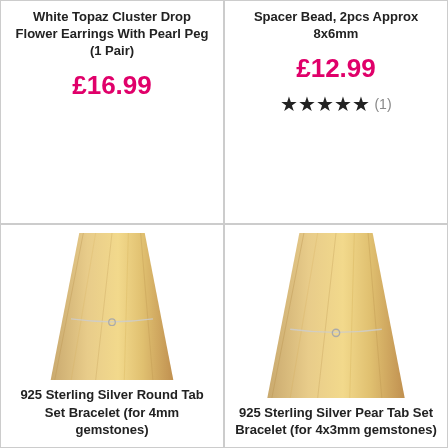White Topaz Cluster Drop Flower Earrings With Pearl Peg (1 Pair)
£16.99
Spacer Bead, 2pcs Approx 8x6mm
£12.99
★★★★★ (1)
[Figure (photo): Photo of a wooden cone display stand with a delicate silver chain bracelet]
925 Sterling Silver Round Tab Set Bracelet (for 4mm gemstones)
[Figure (photo): Photo of a wooden cone display stand with a delicate silver chain bracelet]
925 Sterling Silver Pear Tab Set Bracelet (for 4x3mm gemstones)